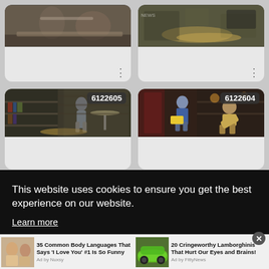[Figure (screenshot): Top-left video card: movie scene with two people at a table in a library/bookshop setting. Three-dots menu at bottom right.]
[Figure (screenshot): Top-right video card: movie scene with person lying down in a bookshop, TV visible. Three-dots menu at bottom right.]
[Figure (screenshot): Bottom-left video card: badge '6122605', movie scene with person standing in a bookshop with overhead lamp.]
[Figure (screenshot): Bottom-right video card: badge '6122604', movie scene with person in blue jacket holding yellow envelope, another person bending over.]
This website uses cookies to ensure you get the best experience on our website.
Learn more
35 Common Body Languages That Says 'I Love You' #1 Is So Funny
Ad by Nuxsy
20 Cringeworthy Lamborghinis That Hurt Our Eyes and Brains!
Ad by FittyNews